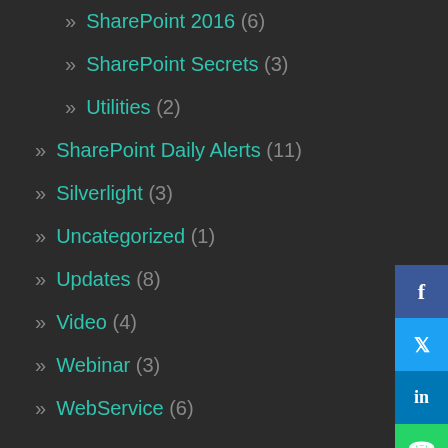» SharePoint 2016 (6)
» SharePoint Secrets (3)
» Utilities (2)
» SharePoint Daily Alerts (11)
» Silverlight (3)
» Uncategorized (1)
» Updates (8)
» Video (4)
» Webinar (3)
» WebService (6)
MY CONTRIBUTIONS
» Youtube